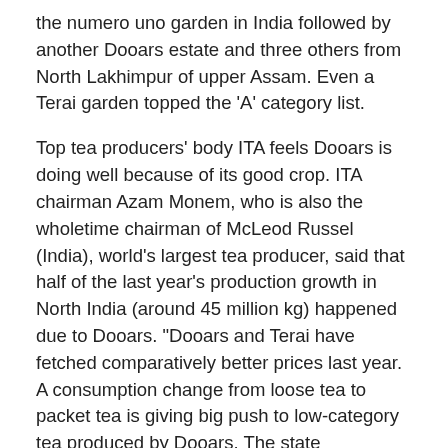the numero uno garden in India followed by another Dooars estate and three others from North Lakhimpur of upper Assam. Even a Terai garden topped the 'A' category list.
Top tea producers' body ITA feels Dooars is doing well because of its good crop. ITA chairman Azam Monem, who is also the wholetime chairman of McLeod Russel (India), world's largest tea producer, said that half of the last year's production growth in North India (around 45 million kg) happened due to Dooars. "Dooars and Terai have fetched comparatively better prices last year. A consumption change from loose tea to packet tea is giving big push to low-category tea produced by Dooars. The state government, too, did its best in workers' welfare and cheaper food rationing in this belt," added Monem.
According to Sarangi, this study will help bring back focus on issues like production and quality parameters in the tea gardens. "The board will carry out this process annually, which would bring in a sense of competition among tea gardens